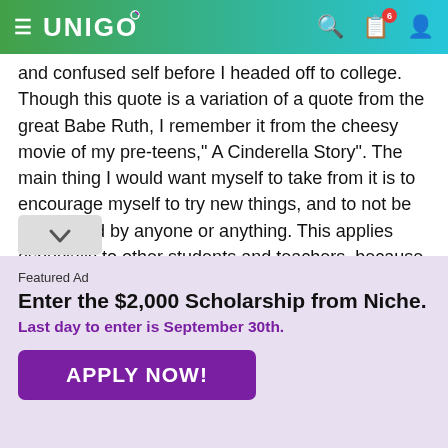UNIGO
and confused self before I headed off to college. Though this quote is a variation of a quote from the great Babe Ruth, I remember it from the cheesy movie of my pre-teens," A Cinderella Story". The main thing I would want myself to take from it is to encourage myself to try new things, and to not be intimidated by anyone or anything. This applies especially to other students and teachers, because though I did not at first realize it, the other students were just as bewildered by this experience as I was, and these teachers were very much there to help st had to have the guts to take advantage of it.
Featured Ad
Enter the $2,000 Scholarship from Niche.
Last day to enter is September 30th.
APPLY NOW!